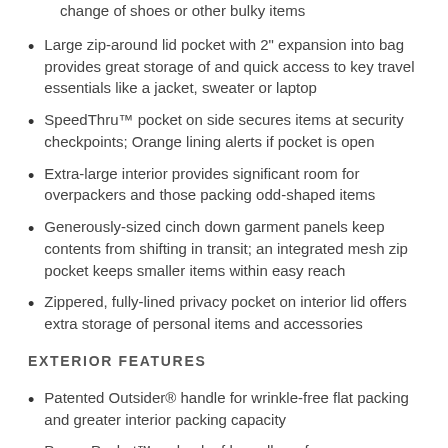change of shoes or other bulky items
Large zip-around lid pocket with 2" expansion into bag provides great storage of and quick access to key travel essentials like a jacket, sweater or laptop
SpeedThru™ pocket on side secures items at security checkpoints; Orange lining alerts if pocket is open
Extra-large interior provides significant room for overpackers and those packing odd-shaped items
Generously-sized cinch down garment panels keep contents from shifting in transit; an integrated mesh zip pocket keeps smaller items within easy reach
Zippered, fully-lined privacy pocket on interior lid offers extra storage of personal items and accessories
EXTERIOR FEATURES
Patented Outsider® handle for wrinkle-free flat packing and greater interior packing capacity
Power Pocket™ on back of bag allows for a pass-